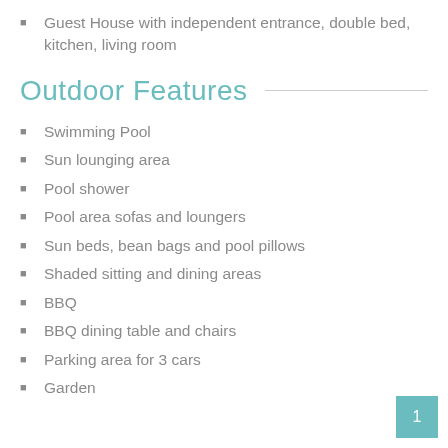Guest House with independent entrance, double bed, kitchen, living room
Outdoor Features
Swimming Pool
Sun lounging area
Pool shower
Pool area sofas and loungers
Sun beds, bean bags and pool pillows
Shaded sitting and dining areas
BBQ
BBQ dining table and chairs
Parking area for 3 cars
Garden